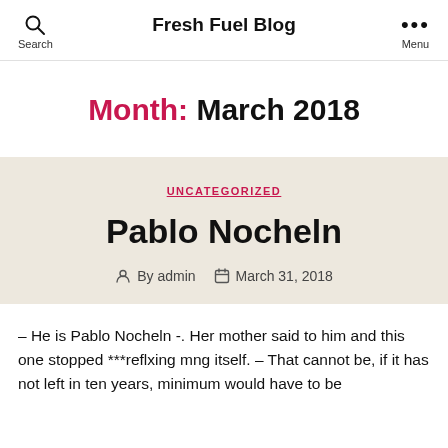Fresh Fuel Blog
Month: March 2018
UNCATEGORIZED
Pablo Nocheln
By admin   March 31, 2018
– He is Pablo Nocheln -. Her mother said to him and this one stopped ***reflxing mng itself. – That cannot be, if it has not left in ten years, minimum would have to be